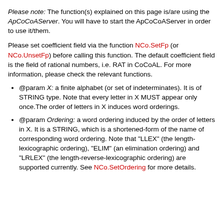Please note: The function(s) explained on this page is/are using the ApCoCoAServer. You will have to start the ApCoCoAServer in order to use it/them.
Please set coefficient field via the function NCo.SetFp (or NCo.UnsetFp) before calling this function. The default coefficient field is the field of rational numbers, i.e. RAT in CoCoAL. For more information, please check the relevant functions.
@param X: a finite alphabet (or set of indeterminates). It is of STRING type. Note that every letter in X MUST appear only once.The order of letters in X induces word orderings.
@param Ordering: a word ordering induced by the order of letters in X. It is a STRING, which is a shortened-form of the name of corresponding word ordering. Note that "LLEX" (the length-lexicographic ordering), "ELIM" (an elimination ordering) and "LRLEX" (the length-reverse-lexicographic ordering) are supported currently. See NCo.SetOrdering for more details.